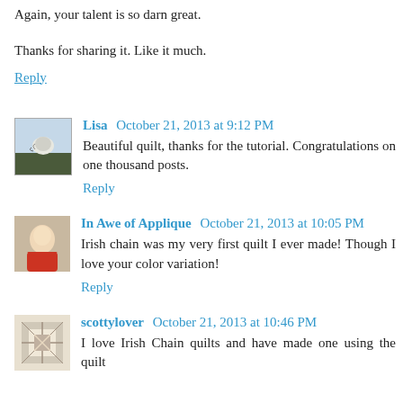Again, your talent is so darn great.
Thanks for sharing it. Like it much.
Reply
Lisa  October 21, 2013 at 9:12 PM
Beautiful quilt, thanks for the tutorial. Congratulations on one thousand posts.
Reply
In Awe of Applique  October 21, 2013 at 10:05 PM
Irish chain was my very first quilt I ever made! Though I love your color variation!
Reply
scottylover  October 21, 2013 at 10:46 PM
I love Irish Chain quilts and have made one using the quilt